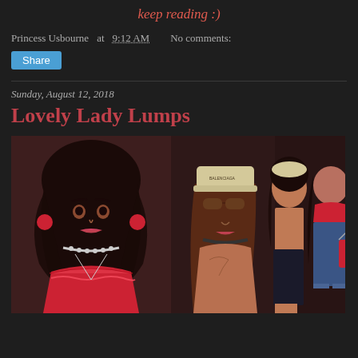keep reading :)
Princess Usbourne at 9:12 AM   No comments:
Share
Sunday, August 12, 2018
Lovely Lady Lumps
[Figure (illustration): Four illustrated female figures in fashion outfits. Left: close-up of a woman with dark wavy hair, red hoop earrings, choker necklace, and red ruffled off-shoulder top. Center: woman with long brown hair wearing a Balenciaga cap, sunglasses, and open top. Right-center and far right: two women in casual outfits including jeans.]